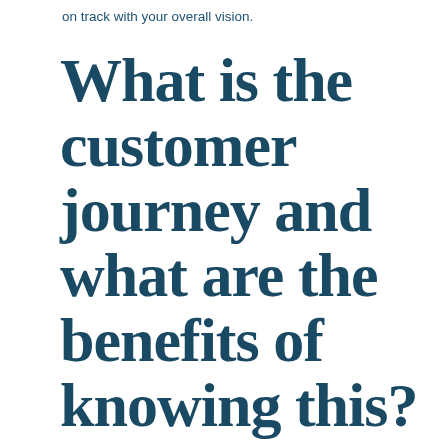on track with your overall vision.
What is the customer journey and what are the benefits of knowing this?